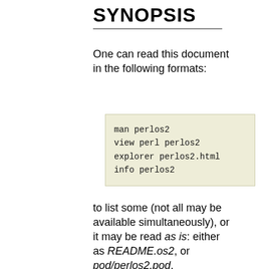SYNOPSIS
One can read this document in the following formats:
man perlos2
view perl perlos2
explorer perlos2.html
info perlos2
to list some (not all may be available simultaneously), or it may be read as is: either as README.os2, or pod/perlos2.pod.
To read the .INF version of documentation (very recommended) outside of OS/2, one